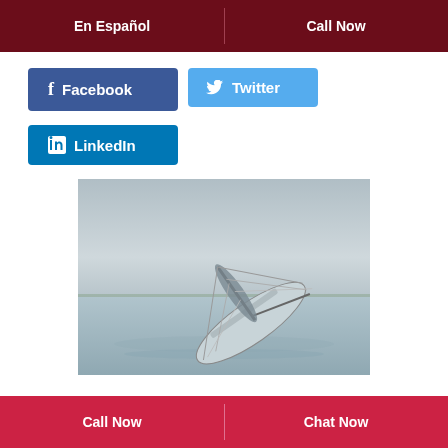En Español | Call Now
[Figure (screenshot): Facebook social share button (blue, with f icon)]
[Figure (screenshot): Twitter social share button (light blue, with bird icon)]
[Figure (screenshot): LinkedIn social share button (blue, with in icon)]
[Figure (photo): Sailboat capsized or heeling heavily in calm water, mast nearly touching water, rigging visible]
Call Now | Chat Now